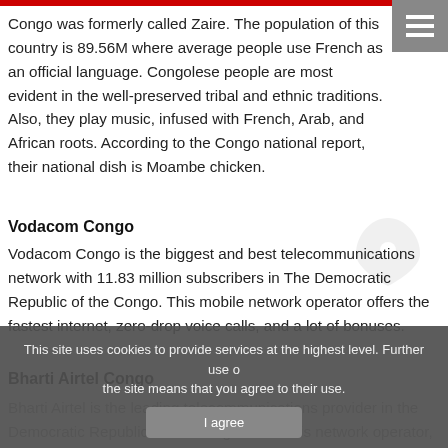Congo was formerly called Zaire. The population of this country is 89.56M where average people use French as an official language. Congolese people are most evident in the well-preserved tribal and ethnic traditions. Also, they play music, infused with French, Arab, and African roots. According to the Congo national report, their national dish is Moambe chicken.
Vodacom Congo
Vodacom Congo is the biggest and best telecommunications network with 11.83 million subscribers in The Democratic Republic of the Congo. This mobile network operator offers the fastest internet, zero-drop voice calls, and a lot of bonuses.
Bharti Airtel Congo
Bharti Airtel is the leading telecommunications provider in the Democratic Republic of the Congo. From this network operator, you'll get the lowest rate of voice calls, 3G internet, and so many
This site uses cookies to provide services at the highest level. Further use of the site means that you agree to their use.